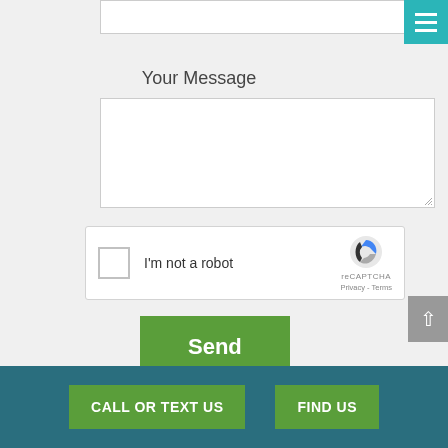[Figure (screenshot): Partial text input field at the top of a web contact form]
Your Message
[Figure (screenshot): Textarea for message input with resize handle]
[Figure (screenshot): reCAPTCHA widget with checkbox, 'I'm not a robot' text, reCAPTCHA logo, Privacy and Terms links]
[Figure (screenshot): Green Send button]
[Figure (screenshot): Gray scroll-to-top button with up arrow]
[Figure (screenshot): Dark teal footer with two green buttons: CALL OR TEXT US and FIND US]